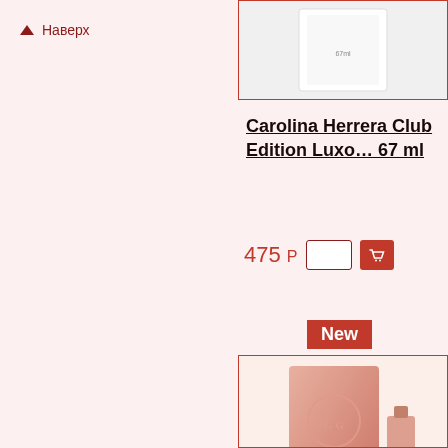▲ Наверх
Carolina Herrera Club Edition Luxe 67 ml
475 Р
[Figure (photo): White perfume product box with Carolina Herrera branding]
New
[Figure (photo): Gucci perfume product - pink/rose colored box with Gucci logo]